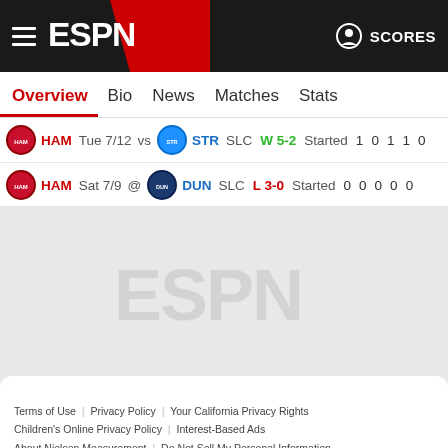ESPN — SCORES
Overview | Bio | News | Matches | Stats
| Team | Date |  | Opponent | Comp | Result | Status | Col1 | Col2 | Col3 | Col4 | Col5 |
| --- | --- | --- | --- | --- | --- | --- | --- | --- | --- | --- | --- |
| HAM | Tue 7/12 | vs | STR | SLC | W 5-2 | Started | 1 | 0 | 1 | 1 | 0 |
| HAM | Sat 7/9 | @ | DUN | SLC | L 3-0 | Started | 0 | 0 | 0 | 0 | 0 |
[Figure (logo): ESPN watermark logo in light gray]
Terms of Use | Privacy Policy | Your California Privacy Rights | Children's Online Privacy Policy | Interest-Based Ads | About Nielsen Measurement | Do Not Sell My Personal Information | Contact Us | Disney Ad Sales Site | Work for ESPN | Copyright: © ESPN Enterprises, Inc. All rights reserved.